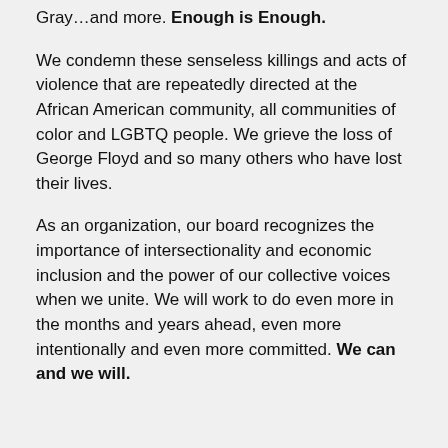Gray…and more. Enough is Enough.
We condemn these senseless killings and acts of violence that are repeatedly directed at the African American community, all communities of color and LGBTQ people. We grieve the loss of George Floyd and so many others who have lost their lives.
As an organization, our board recognizes the importance of intersectionality and economic inclusion and the power of our collective voices when we unite. We will work to do even more in the months and years ahead, even more intentionally and even more committed. We can and we will.